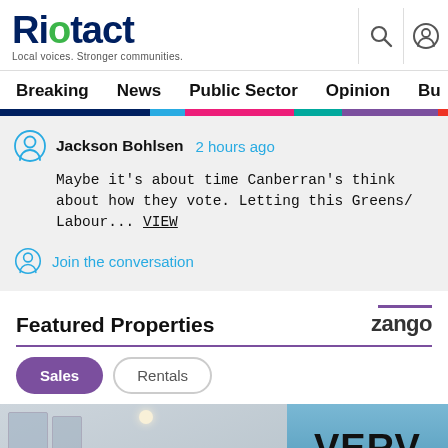[Figure (logo): Riotact logo with green O, tagline: Local voices. Stronger communities.]
Breaking  News  Public Sector  Opinion  Business  R
Jackson Bohlsen  2 hours ago
Maybe it's about time Canberran's think about how they vote. Letting this Greens/ Labour... VIEW
Join the conversation
Featured Properties
[Figure (logo): Zango logo with purple bar above]
Sales  Rentals
[Figure (photo): Interior room photo with window view, VERV text overlay on right side]